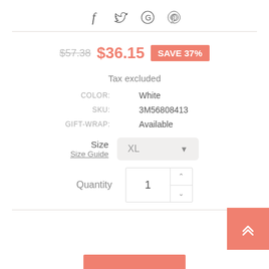[Figure (illustration): Social sharing icons: Facebook (f), Twitter bird, Google (G), Pinterest (P) in a row]
$57.38  $36.15  SAVE 37%
Tax excluded
| COLOR: | White |
| SKU: | 3M56808413 |
| GIFT-WRAP: | Available |
Size
Size Guide
XL (dropdown)
Quantity  1
[Figure (illustration): Orange scroll-to-top button with double chevron up arrow]